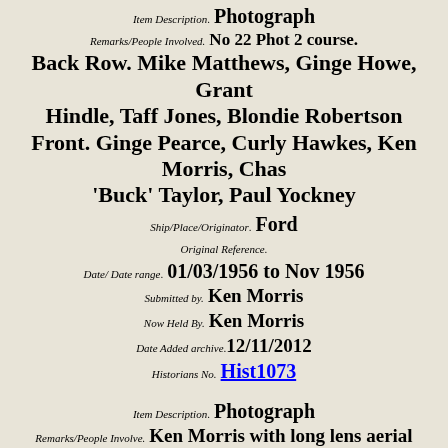Item Description. Photograph
Remarks/People Involved. No 22 Phot 2 course. Back Row. Mike Matthews, Ginge Howe, Grant Hindle, Taff Jones, Blondie Robertson Front. Ginge Pearce, Curly Hawkes, Ken Morris, Chas 'Buck' Taylor, Paul Yockney
Ship/Place/Originator. Ford
Original Reference.
Date/ Date range. 01/03/1956 to Nov 1956
Submitted by. Ken Morris
Now Held By. Ken Morris
Date Added archive. 12/11/2012
Historians No. Hist1073
Item Description. Photograph
Remarks/People Involve. Ken Morris with long lens aerial Camera (F52?)
Ship/Place/Originator. Ford
Original Reference.
Date/Date range. c 1956 -
Submitted by. Ken Morris
Now held by. Ken Morris